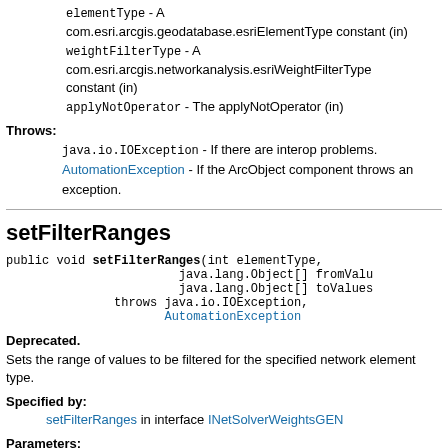elementType - A com.esri.arcgis.geodatabase.esriElementType constant (in)
weightFilterType - A com.esri.arcgis.networkanalysis.esriWeightFilterType constant (in)
applyNotOperator - The applyNotOperator (in)
Throws:
java.io.IOException - If there are interop problems.
AutomationException - If the ArcObject component throws an exception.
setFilterRanges
public void setFilterRanges(int elementType,
                        java.lang.Object[] fromValu
                        java.lang.Object[] toValues
               throws java.io.IOException,
                      AutomationException
Deprecated.
Sets the range of values to be filtered for the specified network element type.
Specified by:
setFilterRanges in interface INetSolverWeightsGEN
Parameters:
elementType - A
com.esri.arcgis.geodatabase.esriElementType constant (in)